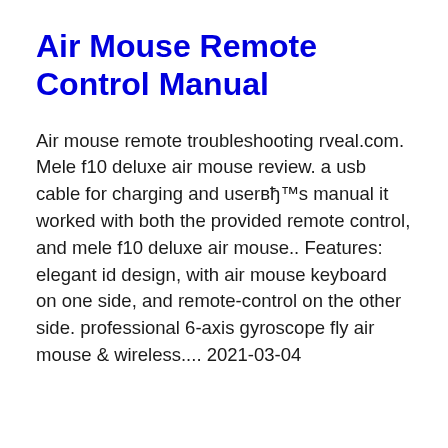Air Mouse Remote Control Manual
Air mouse remote troubleshooting rveal.com. Mele f10 deluxe air mouse review. a usb cable for charging and userвђ™s manual it worked with both the provided remote control, and mele f10 deluxe air mouse.. Features: elegant id design, with air mouse keyboard on one side, and remote-control on the other side. professional 6-axis gyroscope fly air mouse & wireless.... 2021-03-04